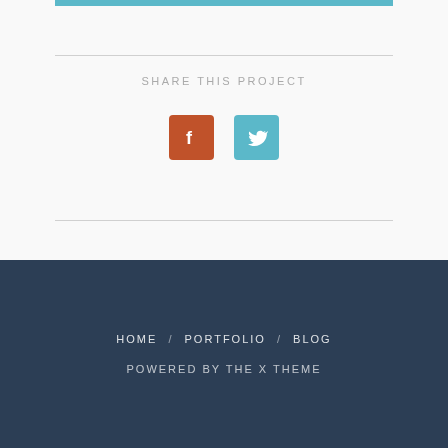[Figure (screenshot): Teal horizontal bar at top of content card area]
SHARE THIS PROJECT
[Figure (illustration): Facebook icon (orange/brown rounded square) and Twitter icon (teal rounded square) side by side]
HOME / PORTFOLIO / BLOG
POWERED BY THE X THEME